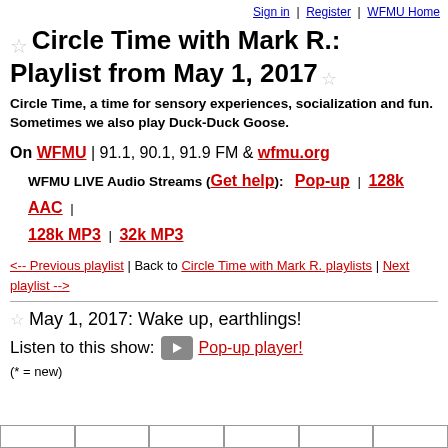Sign in | Register | WFMU Home
☆ Circle Time with Mark R.: Playlist from May 1, 2017 ☆
Circle Time, a time for sensory experiences, socialization and fun. Sometimes we also play Duck-Duck Goose.
On WFMU | 91.1, 90.1, 91.9 FM & wfmu.org
WFMU LIVE Audio Streams (Get help): Pop-up | 128k AAC | 128k MP3 | 32k MP3
<-- Previous playlist | Back to Circle Time with Mark R. playlists | Next playlist -->
☆ May 1, 2017: Wake up, earthlings!
Listen to this show: ▶ Pop-up player!
(* = new)